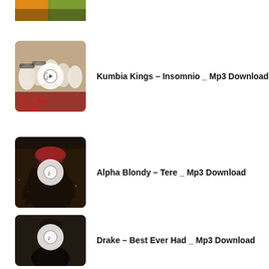[Figure (photo): Partial top image of a music download entry, cropped at top of page]
Kumbia Kings – Insomnio _ Mp3 Download
Alpha Blondy – Tere _ Mp3 Download
Drake – Best Ever Had _ Mp3 Download